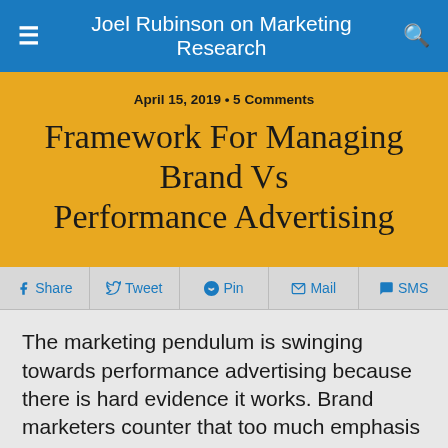Joel Rubinson on Marketing Research
April 15, 2019 • 5 Comments
Framework For Managing Brand Vs Performance Advertising
Share  Tweet  Pin  Mail  SMS
The marketing pendulum is swinging towards performance advertising because there is hard evidence it works. Brand marketers counter that too much emphasis on short term performance can mortgage brands' futures.